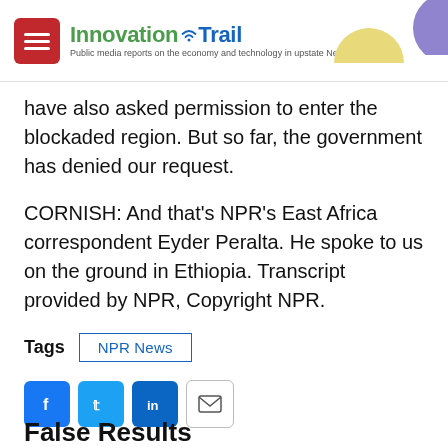[Figure (logo): Innovation Trail logo with red square icon and tagline 'Public media reports on the economy and technology in upstate New York']
have also asked permission to enter the blockaded region. But so far, the government has denied our request.
CORNISH: And that's NPR's East Africa correspondent Eyder Peralta. He spoke to us on the ground in Ethiopia. Transcript provided by NPR, Copyright NPR.
Tags  NPR News
[Figure (infographic): Social sharing buttons: Facebook (blue), Twitter (blue), LinkedIn (blue), Email (outlined)]
False Results